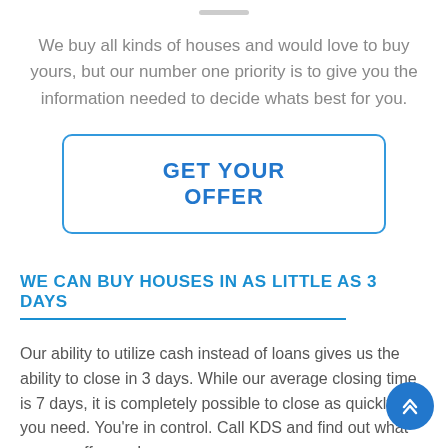We buy all kinds of houses and would love to buy yours, but our number one priority is to give you the information needed to decide whats best for you.
GET YOUR OFFER
WE CAN BUY HOUSES IN AS LITTLE AS 3 DAYS
Our ability to utilize cash instead of loans gives us the ability to close in 3 days.  While our average closing time is 7 days, it is completely possible to close as quickly as you need. You're in control. Call KDS and find out what we can offer you!